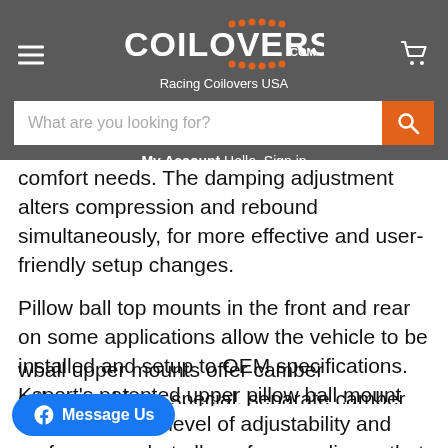[Figure (screenshot): Coilovers.com website header with logo, search bar, and My Account navigation]
comfort needs. The damping adjustment alters compression and rebound simultaneously, for more effective and user-friendly setup changes.
Pillow ball top mounts in the front and rear on some applications allow the vehicle to be installed and setup to OEM specifications. Ksport's patented upper pillow ball mount offers the same level of adjustability and performance, but allows for compliance that is often required from high-demand strut applications. On applicable ...wball upper mounts offer camber ...g the need for a special, separate camber